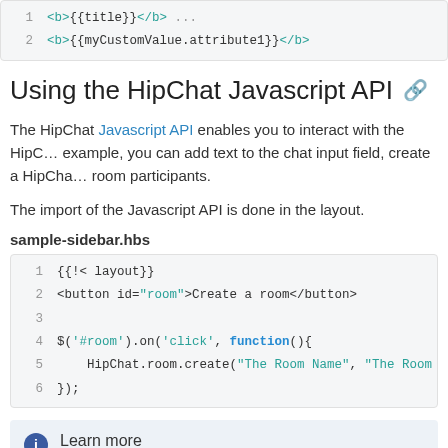[Figure (screenshot): Code block showing line 1: <b>{{title}}</b> truncated, line 2: <b>{{myCustomValue.attribute1}}</b>]
Using the HipChat Javascript API
The HipChat Javascript API enables you to interact with the HipChat room. For example, you can add text to the chat input field, create a HipChat room, and get room participants.
The import of the Javascript API is done in the layout.
sample-sidebar.hbs
[Figure (screenshot): Code block showing lines 1-6: {{!< layout}}, <button id="room">Create a room</button>, blank line, $('#room').on('click', function(){, HipChat.room.create("The Room Name", "The Room T..., });]
Learn more
API guide: Javascript API